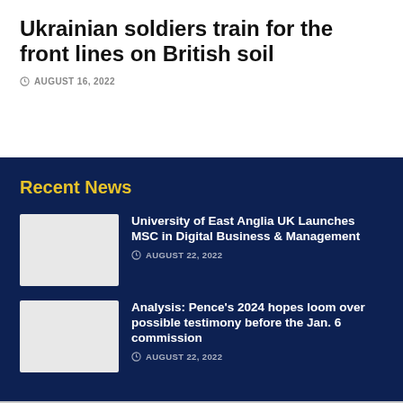Ukrainian soldiers train for the front lines on British soil
AUGUST 16, 2022
Recent News
[Figure (photo): Thumbnail image placeholder for University of East Anglia article]
University of East Anglia UK Launches MSC in Digital Business & Management
AUGUST 22, 2022
[Figure (photo): Thumbnail image placeholder for Analysis: Pence article]
Analysis: Pence's 2024 hopes loom over possible testimony before the Jan. 6 commission
AUGUST 22, 2022